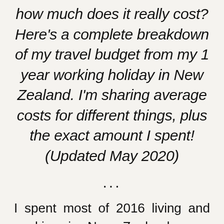how much does it really cost? Here's a complete breakdown of my travel budget from my 1 year working holiday in New Zealand. I'm sharing average costs for different things, plus the exact amount I spent! (Updated May 2020)
...
I spent most of 2016 living and working in New Zealand on a working holiday visa. I kept an extremely detailed log of every dollar I spent during that time. So I wanted to put that to good use and give